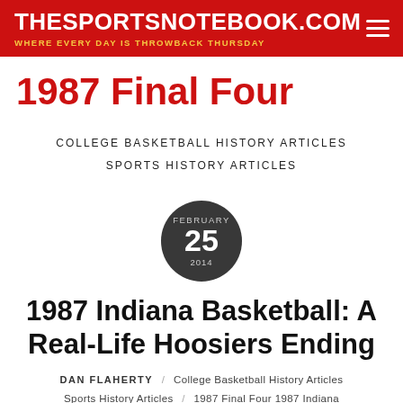THESPORTSNOTEBOOK.COM — WHERE EVERY DAY IS THROWBACK THURSDAY
1987 Final Four
COLLEGE BASKETBALL HISTORY ARTICLES
SPORTS HISTORY ARTICLES
FEBRUARY 25 2014
1987 Indiana Basketball: A Real-Life Hoosiers Ending
DAN FLAHERTY / College Basketball History Articles Sports History Articles / 1987 Final Four 1987 Indiana